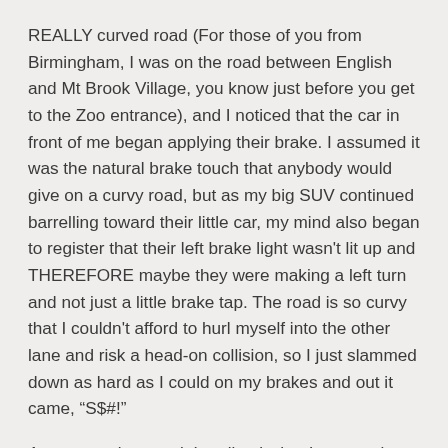REALLY curved road (For those of you from Birmingham, I was on the road between English and Mt Brook Village, you know just before you get to the Zoo entrance), and I noticed that the car in front of me began applying their brake. I assumed it was the natural brake touch that anybody would give on a curvy road, but as my big SUV continued barrelling toward their little car, my mind also began to register that their left brake light wasn't lit up and THEREFORE maybe they were making a left turn and not just a little brake tap. The road is so curvy that I couldn't afford to hurl myself into the other lane and risk a head-on collision, so I just slammed down as hard as I could on my brakes and out it came, “S$#!”
As soon as it started, I realized what I was saying, but it was too late. We managed to stop within a breath of